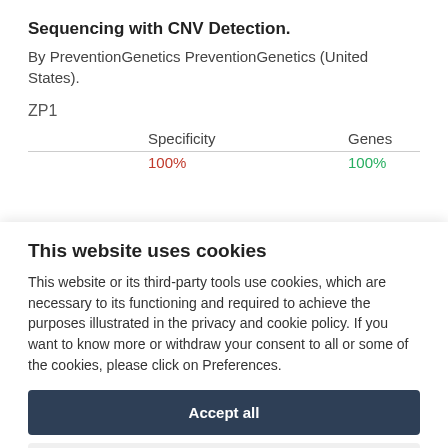Sequencing with CNV Detection.
By PreventionGenetics PreventionGenetics (United States).
ZP1
|  | Specificity | Genes |
| --- | --- | --- |
|  | 100% | 100% |
This website uses cookies
This website or its third-party tools use cookies, which are necessary to its functioning and required to achieve the purposes illustrated in the privacy and cookie policy. If you want to know more or withdraw your consent to all or some of the cookies, please click on Preferences.
Accept all
Preferences